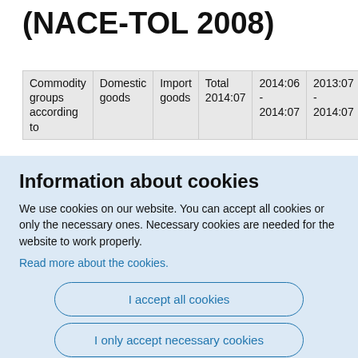(NACE-TOL 2008)
| Commodity groups according to | Domestic goods | Import goods | Total 2014:07 | 2014:06 - 2014:07 | 2013:07 - 2014:07 |
| --- | --- | --- | --- | --- | --- |
Information about cookies
We use cookies on our website. You can accept all cookies or only the necessary ones. Necessary cookies are needed for the website to work properly.
Read more about the cookies.
I accept all cookies
I only accept necessary cookies